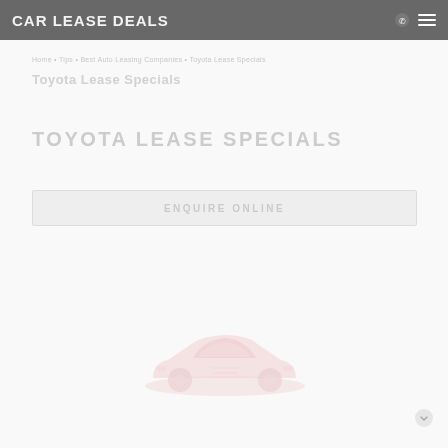CAR LEASE DEALS
Home > Tips > Best Auto Leasing Companies > Toyota Lease Specials
TOYOTA LEASE SPECIALS
ENQUIRE ONLINE
[Figure (photo): Faded/watermarked image of a Toyota vehicle (SUV/car) viewed from a slightly elevated angle, rendered in very light pink/salmon tones against a white background]